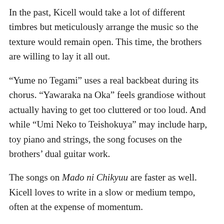In the past, Kicell would take a lot of different timbres but meticulously arrange the music so the texture would remain open. This time, the brothers are willing to lay it all out.
“Yume no Tegami” uses a real backbeat during its chorus. “Yawaraka na Oka” feels grandiose without actually having to get too cluttered or too loud. And while “Umi Neko to Teishokuya” may include harp, toy piano and strings, the song focuses on the brothers’ dual guitar work.
The songs on Mado ni Chikyuu are faster as well. Kicell loves to write in a slow or medium tempo, often at the expense of momentum.
“Tokage Hashiru”, “Enola Gay” and “Kagi no Kai” offer a boost to the album which previous works overlooked.
It’s on these faster tracks that the brothers hold back on